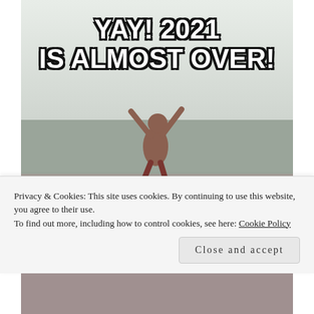[Figure (photo): A meme image showing a shirtless man at a beach with arms raised in celebration, with large bold white text reading 'YAY! 2021 IS ALMOST OVER!' overlaid on the sky portion of the image.]
Privacy & Cookies: This site uses cookies. By continuing to use this website, you agree to their use.
To find out more, including how to control cookies, see here: Cookie Policy
Close and accept